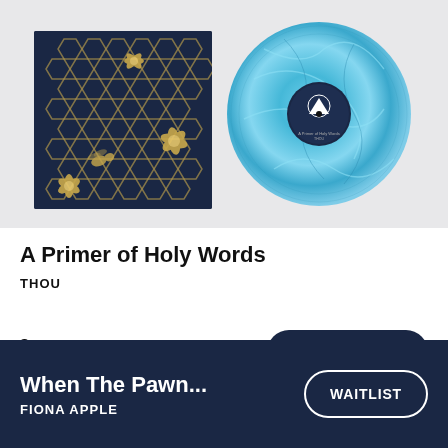[Figure (photo): Product photo showing vinyl record album. Left side shows album cover art with dark navy background featuring honeycomb pattern and golden floral/bee designs. Right side shows a blue marbled vinyl record with a dark circular label featuring a triangle/mountain logo.]
A Primer of Holy Words
THOU
$31
ADD TO CART
When The Pawn...
FIONA APPLE
WAITLIST